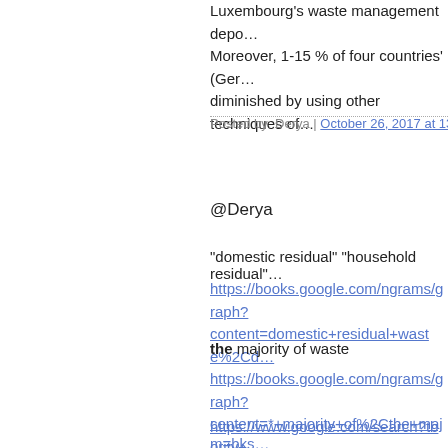Luxembourg's waste management depo… Moreover, 1-15 % of four countries' (Ger… diminished by using other techniques of…
Posted by: Derya | October 26, 2017 at 13:27
@Derya
"domestic residual" "household residual"…
https://books.google.com/ngrams/graph?content=domestic+residual+waste%2Cd…
the majority of waste
https://books.google.com/ngrams/graph?content=*+majority+of%2Cthe+majority+…
https://www.google.com/search?tbm=bks…
https://www.google.co.nz/search?q=%22the+majority+of+cases+are%22&…
"...are buried in the ground by, leaving..."
"only under" -> less than
https://books.google.com/ngrams/graph?content=in+the+favour+of%2C+in+favou…